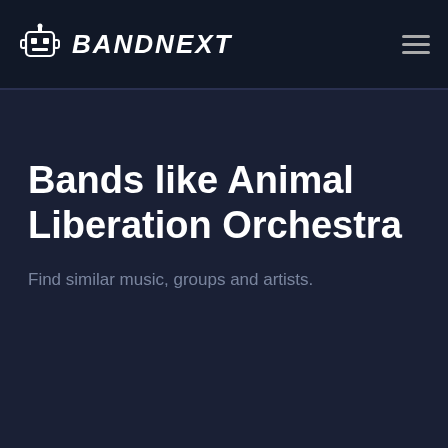BANDNEXT
Bands like Animal Liberation Orchestra
Find similar music, groups and artists.